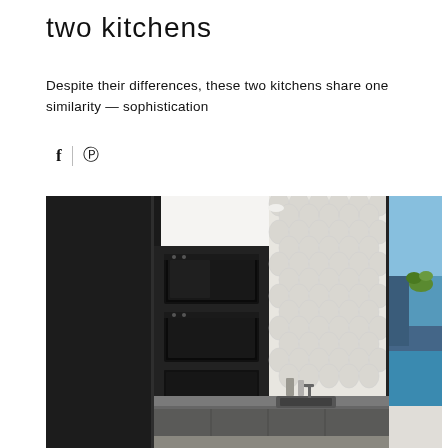two kitchens
Despite their differences, these two kitchens share one similarity — sophistication
[Figure (photo): Modern kitchen interior with dark black cabinetry on the left featuring built-in ovens, white fish-scale tile backsplash in the center, grey countertop with sink, and a large floor-to-ceiling window on the right revealing a swimming pool and blue sky outside.]